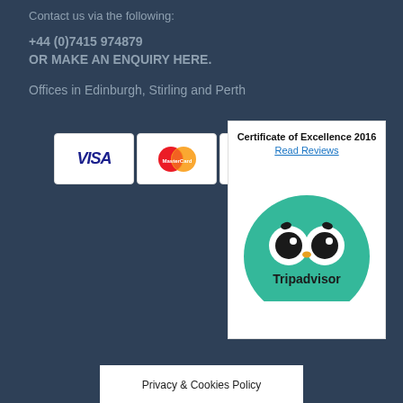Contact us via the following:
+44 (0)7415 974879
OR MAKE AN ENQUIRY HERE.
Offices in Edinburgh, Stirling and Perth
[Figure (other): Payment method logos: VISA, MasterCard, Maestro, PayPal]
[Figure (other): TripAdvisor Certificate of Excellence 2016 badge with Read Reviews link and TripAdvisor owl logo on green semicircle]
Privacy & Cookies Policy